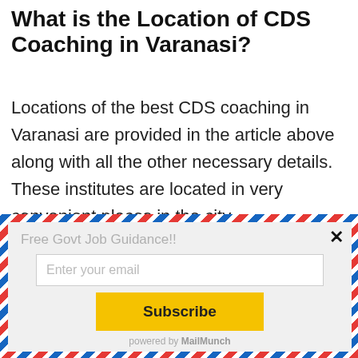What is the Location of CDS Coaching in Varanasi?
Locations of the best CDS coaching in Varanasi are provided in the article above along with all the other necessary details. These institutes are located in very convenient places in the city.
[Figure (screenshot): Email subscription popup with airmail-style diagonal red/blue/white striped border on gray background. Contains label 'Free Govt Job Guidance!!', an email input field, a yellow Subscribe button, and 'powered by MailMunch' footer. Has a close (×) button in top right.]